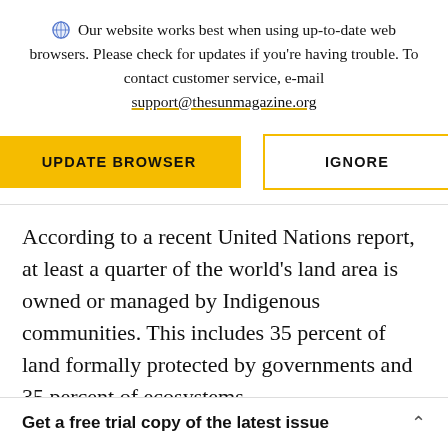Our website works best when using up-to-date web browsers. Please check for updates if you're having trouble. To contact customer service, e-mail support@thesunmagazine.org
[Figure (other): Two buttons: a yellow filled 'UPDATE BROWSER' button and a yellow-outlined 'IGNORE' button]
According to a recent United Nations report, at least a quarter of the world's land area is owned or managed by Indigenous communities. This includes 35 percent of land formally protected by governments and 35 percent of ecosystems
Get a free trial copy of the latest issue